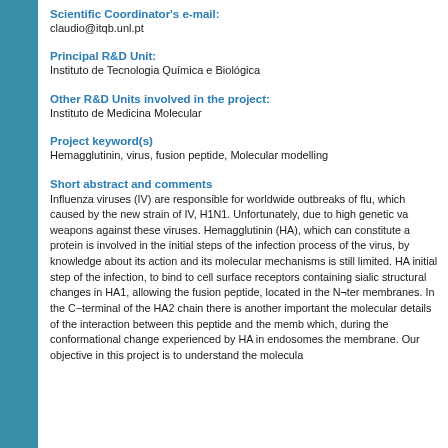Scientific Coordinator's e-mail:
claudio@itqb.unl.pt
Principal R&D Unit:
Instituto de Tecnologia Química e Biológica
Other R&D Units involved in the project:
Instituto de Medicina Molecular
Project keyword(s)
Hemagglutinin, virus, fusion peptide, Molecular modelling
Short abstract and comments
Influenza viruses (IV) are responsible for worldwide outbreaks of flu, which caused by the new strain of IV, H1N1. Unfortunately, due to high genetic va weapons against these viruses. Hemagglutinin (HA), which can constitute a protein is involved in the initial steps of the infection process of the virus, by knowledge about its action and its molecular mechanisms is still limited. HA initial step of the infection, to bind to cell surface receptors containing sialic structural changes in HA1, allowing the fusion peptide, located in the N¬ter membranes. In the C−terminal of the HA2 chain there is another important the molecular details of the interaction between this peptide and the memb which, during the conformational change experienced by HA in endosomes the membrane. Our objective in this project is to understand the molecula